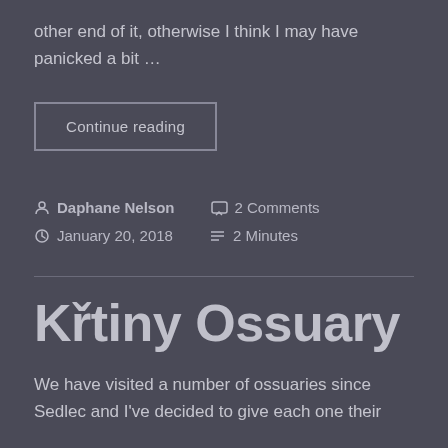other end of it, otherwise I think I may have panicked a bit …
Continue reading
Daphane Nelson   2 Comments   January 20, 2018   2 Minutes
Křtiny Ossuary
We have visited a number of ossuaries since Sedlec and I've decided to give each one their